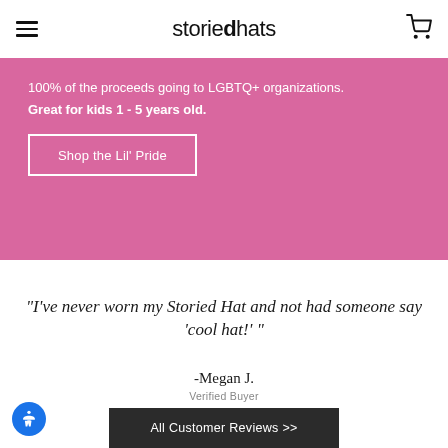storiedhats
100% of the proceeds going to LGBTQ+ organizations. Great for kids 1 - 5 years old.
Shop the Lil' Pride
"I've never worn my Storied Hat and not had someone say 'cool hat!' "
-Megan J.
Verified Buyer
All Customer Reviews >>